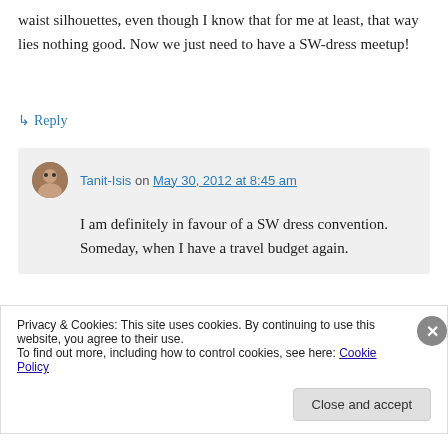waist silhouettes, even though I know that for me at least, that way lies nothing good. Now we just need to have a SW-dress meetup!
↳ Reply
Tanit-Isis on May 30, 2012 at 8:45 am
I am definitely in favour of a SW dress convention. Someday, when I have a travel budget again.
Privacy & Cookies: This site uses cookies. By continuing to use this website, you agree to their use.
To find out more, including how to control cookies, see here: Cookie Policy